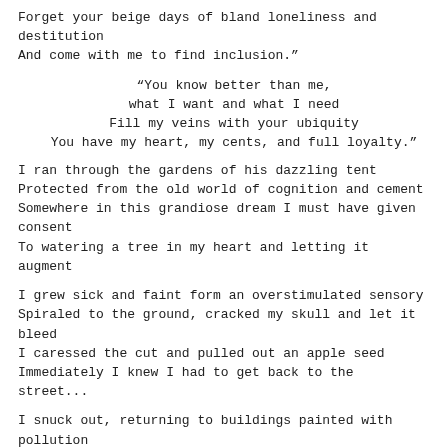Forget your beige days of bland loneliness and destitution
And come with me to find inclusion."

"You know better than me,
what I want and what I need
Fill my veins with your ubiquity
You have my heart, my cents, and full loyalty."
I ran through the gardens of his dazzling tent
Protected from the old world of cognition and cement
Somewhere in this grandiose dream I must have given consent
To watering a tree in my heart and letting it augment

I grew sick and faint form an overstimulated sensory
Spiraled to the ground, cracked my skull and let it bleed
I caressed the cut and pulled out an apple seed
Immediately I knew I had to get back to the street...

I snuck out, returning to buildings painted with pollution
My headache returned, along with the confusion
As my liver filters out the addictive, juicy spell of delusion
The branches in my heart remain rooted to the grand illusion.